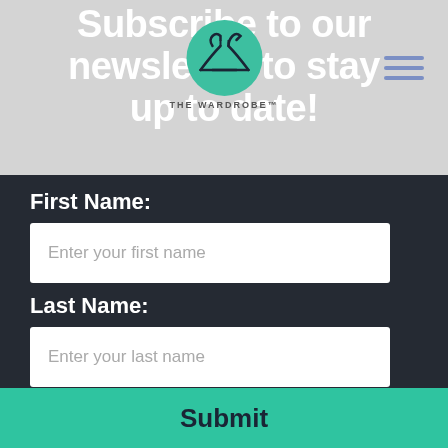Subscribe to our newsletter to stay up to date!
[Figure (logo): The Wardrobe circular logo with two dress hangers, teal/green color, text 'THE WARDROBE' below]
First Name:
Enter your first name
Last Name:
Enter your last name
Email:
Enter your email address
Submit